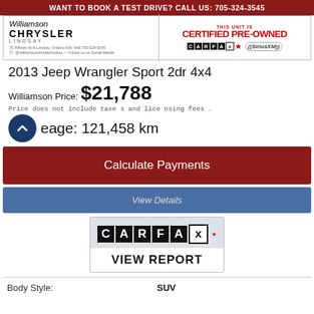WANT TO BOOK A TEST DRIVE? CALL US: 705-324-3545
[Figure (logo): Williamson Chrysler Lindsay dealer header with CARFAX Canada and SiriusXM logos, Certified Pre-Owned badge]
2013 Jeep Wrangler Sport 2dr 4x4
Williamson Price: $21,788
Price does not include taxes and licensing fees.
Mileage: 121,458 km
Calculate Payments
View Details
[Figure (logo): CARFAX Canada logo with View Report button]
| Body Style: |  |
| --- | --- |
| Body Style: | SUV |